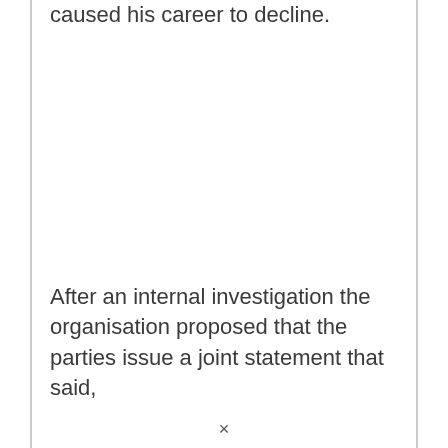caused his career to decline.
After an internal investigation the organisation proposed that the parties issue a joint statement that said,
×